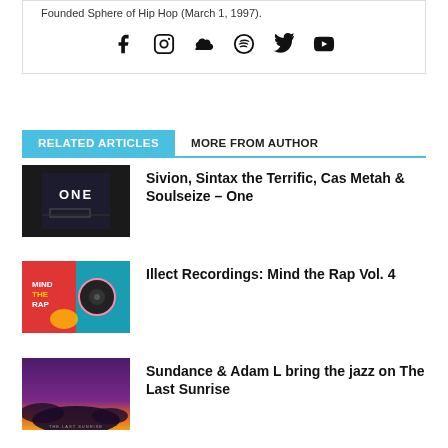Founded Sphere of Hip Hop (March 1, 1997).
[Figure (infographic): Social media icons: Facebook, Instagram, SoundCloud, Spotify, Twitter, YouTube]
RELATED ARTICLES | MORE FROM AUTHOR
[Figure (photo): Album cover for Sivion, Sintax the Terrific, Cas Metah & Soulseize – One. Dark image with text ONE.]
Sivion, Sintax the Terrific, Cas Metah & Soulseize – One
[Figure (photo): Album cover for Illect Recordings: Mind the Rap Vol. 4. Colorful graphic design with turquoise, red, pink colors showing MIND THE RAP text.]
Illect Recordings: Mind the Rap Vol. 4
[Figure (photo): Album cover for Sundance & Adam L bring the jazz on The Last Sunrise. Purple sky with mountain silhouette and yellow/orange horizon.]
Sundance & Adam L bring the jazz on The Last Sunrise